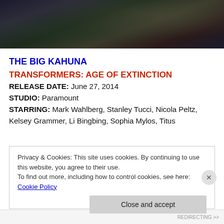[Figure (photo): Dark movie still or promotional image showing a robotic/mechanical creature (Transformer) with dark metallic textures against a dark background]
THE BIG KAHUNA
TRANSFORMERS: AGE OF EXTINCTION
RELEASE DATE: June 27, 2014
STUDIO: Paramount
STARRING: Mark Wahlberg, Stanley Tucci, Nicola Peltz,
Kelsey Grammer, Li Bingbing, Sophia Myles, Titus
Privacy & Cookies: This site uses cookies. By continuing to use this website, you agree to their use.
To find out more, including how to control cookies, see here: Cookie Policy
Close and accept